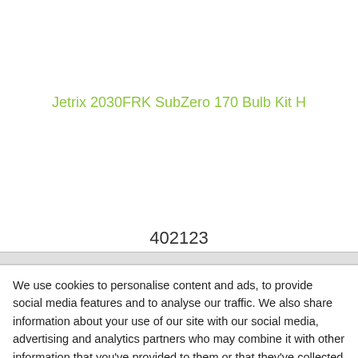Jetrix 2030FRK SubZero 170 Bulb Kit H
402123
We use cookies to personalise content and ads, to provide social media features and to analyse our traffic. We also share information about your use of our site with our social media, advertising and analytics partners who may combine it with other information that you’ve provided to them or that they’ve collected from your use of their services. You consent to our cookies if you continue to use our website.
OK
Necessary
Preferences
Statistics
Marketing
Show details